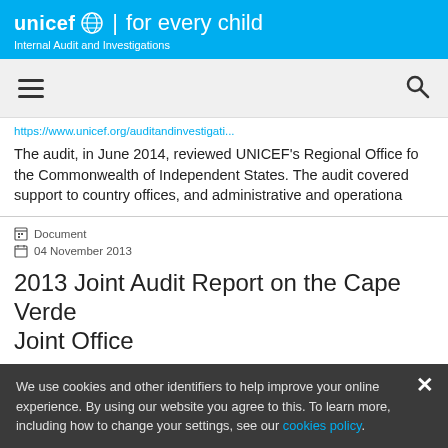unicef for every child — Internal Audit and Investigations
https://www.unicef.org/auditandinvestigati...
The audit, in June 2014, reviewed UNICEF's Regional Office fo the Commonwealth of Independent States. The audit covered support to country offices, and administrative and operationa
Document
04 November 2013
2013 Joint Audit Report on the Cape Verde Joint Office
We use cookies and other identifiers to help improve your online experience. By using our website you agree to this. To learn more, including how to change your settings, see our cookies policy.